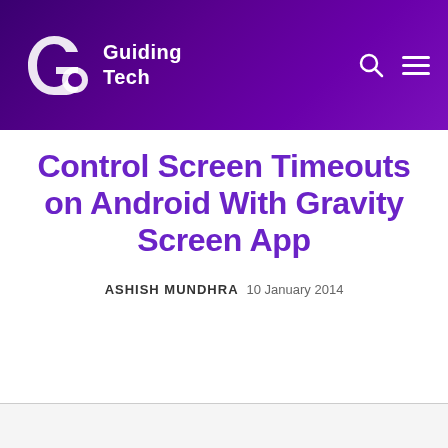Guiding Tech
Control Screen Timeouts on Android With Gravity Screen App
ASHISH MUNDHRA  10 January 2014